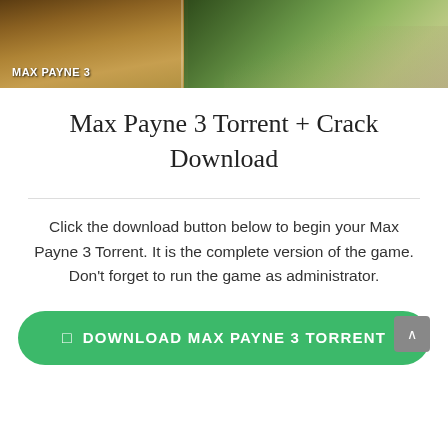[Figure (photo): Max Payne 3 game banner image showing game scenes with characters and tropical environment. The text 'MAX PAYNE 3' is overlaid in the bottom-left corner.]
Max Payne 3 Torrent + Crack Download
Click the download button below to begin your Max Payne 3 Torrent. It is the complete version of the game. Don't forget to run the game as administrator.
⬇  DOWNLOAD MAX PAYNE 3 TORRENT